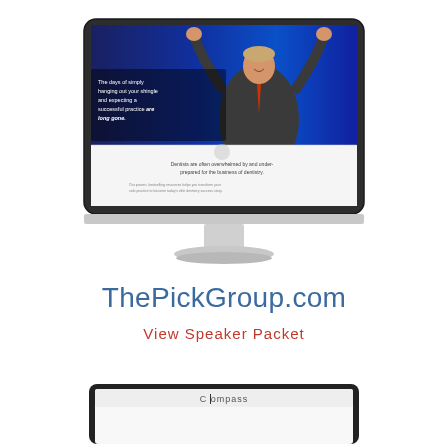[Figure (screenshot): iMac desktop monitor displaying ThePickGroup.com website screenshot. The website shows a dentist/speaker with arms raised in front of a blue curtain background. Text overlay reads: 'The days of simply hanging out your shingle and expecting a successful practice are long gone.' Below is a white section with text: 'Dentists are often overwhelmed by and under-prepared for the business of dentistry.' followed by smaller body text. The monitor is a silver iMac style with stand.]
ThePickGroup.com
View Speaker Packet
[Figure (screenshot): Partial view of a tablet/iPad showing a website with text 'Compass' visible at the top, cut off at bottom of page.]